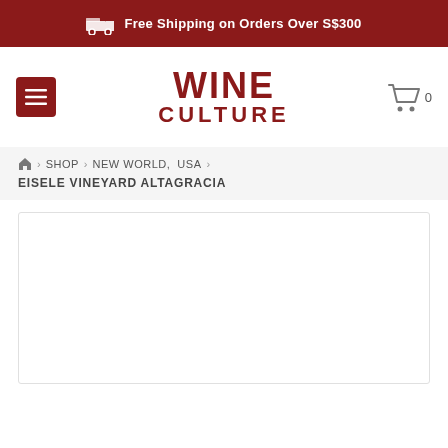Free Shipping on Orders Over S$300
[Figure (logo): Wine Culture logo with menu button and shopping cart icon showing 0 items]
HOME > SHOP > NEW WORLD, USA > EISELE VINEYARD ALTAGRACIA
[Figure (photo): Product image area (blank white box with border)]